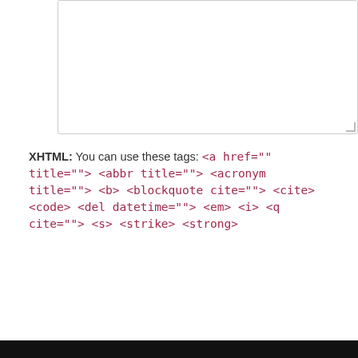[Figure (screenshot): Empty textarea input box with resize handle in bottom-right corner]
XHTML: You can use these tags: <a href="" title=""> <abbr title=""> <acronym title=""> <b> <blockquote cite=""> <cite> <code> <del datetime=""> <em> <i> <q cite=""> <s> <strike> <strong>
Submit Comment